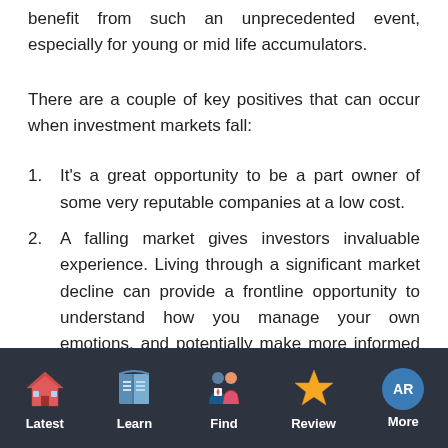benefit from such an unprecedented event, especially for young or mid life accumulators.
There are a couple of key positives that can occur when investment markets fall:
1. It's a great opportunity to be a part owner of some very reputable companies at a low cost.
2. A falling market gives investors invaluable experience. Living through a significant market decline can provide a frontline opportunity to understand how you manage your own emotions, and potentially make more informed decisions
[Figure (infographic): Mobile app navigation bar with icons: Latest (house icon), Learn (book icon), Find (people icon), Review (star icon), More (AR badge)]